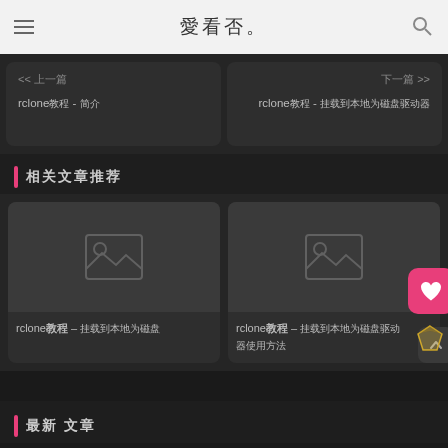愛看否
<< 上一篇  rclone教程 - 简介
下一篇 >>  rclone教程 - 挂载到本地为磁盘驱动器
相关文章推荐
rclone教程 – 挂载到本地为磁盘
rclone教程 – 挂载到本地为磁盘驱动器使用方法
最新 文章